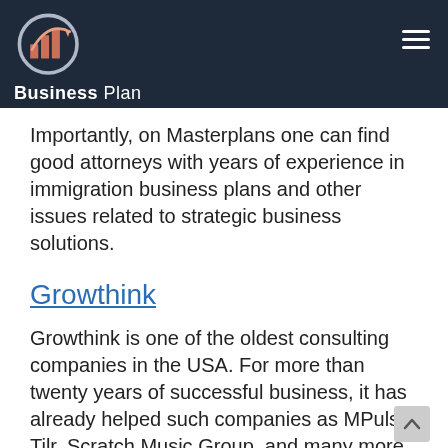Business Plan
Importantly, on Masterplans one can find good attorneys with years of experience in immigration business plans and other issues related to strategic business solutions.
Growthink
Growthink is one of the oldest consulting companies in the USA. For more than twenty years of successful business, it has already helped such companies as MPulse, Tilr, Scratch Music Group, and many more. Growthink has an active Facebook account which is...